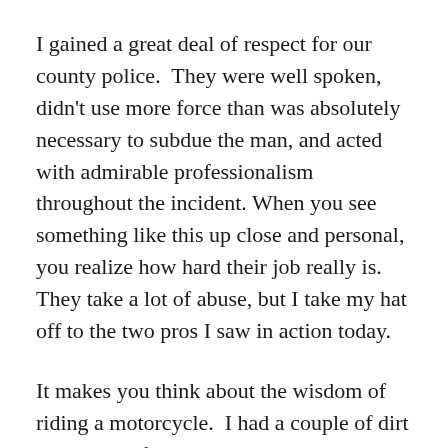I gained a great deal of respect for our county police.  They were well spoken, didn't use more force than was absolutely necessary to subdue the man, and acted with admirable professionalism throughout the incident.  When you see something like this up close and personal, you realize how hard their job really is.  They take a lot of abuse, but I take my hat off to the two pros I saw in action today.
It makes you think about the wisdom of riding a motorcycle.  I had a couple of dirt bikes myself in my younger days, but managed to get through that phase with only a few bumps and bruises and a scar on my chin as a souvenir.  These three bikers we saw today might just